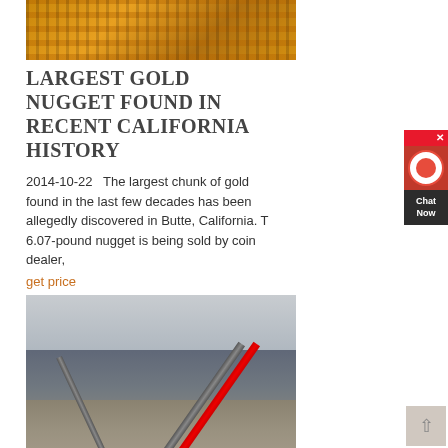[Figure (photo): Top portion of industrial gold processing machinery with yellow/orange metallic components]
LARGEST GOLD NUGGET FOUND IN RECENT CALIFORNIA HISTORY
2014-10-22   The largest chunk of gold found in the last few decades has been allegedly discovered in Butte, California. The 6.07-pound nugget is being sold by coin dealer,
get price
[Figure (photo): Industrial mining conveyor belt equipment with gravel/ore, outdoor setting]
MURPHYS, CA WORLD'S LARGEST GOLD NUGGET